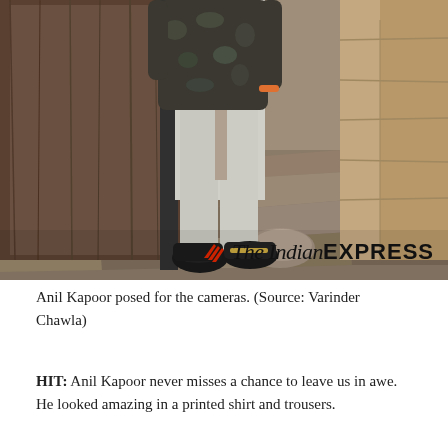[Figure (photo): A man (Anil Kapoor) standing near a wooden door and stone wall, wearing a printed floral/camo shirt, light grey trousers, and black sneakers. The Indian Express watermark is visible at the bottom right of the photo.]
Anil Kapoor posed for the cameras. (Source: Varinder Chawla)
HIT: Anil Kapoor never misses a chance to leave us in awe. He looked amazing in a printed shirt and trousers.